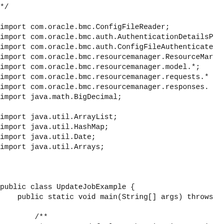*/

import com.oracle.bmc.ConfigFileReader;
import com.oracle.bmc.auth.AuthenticationDetailsP
import com.oracle.bmc.auth.ConfigFileAuthenticate
import com.oracle.bmc.resourcemanager.ResourceMar
import com.oracle.bmc.resourcemanager.model.*;
import com.oracle.bmc.resourcemanager.requests.*
import com.oracle.bmc.resourcemanager.responses.
import java.math.BigDecimal;

import java.util.ArrayList;
import java.util.HashMap;
import java.util.Date;
import java.util.Arrays;



public class UpdateJobExample {
    public static void main(String[] args) throws

        /**
         * Create a default authentication provi